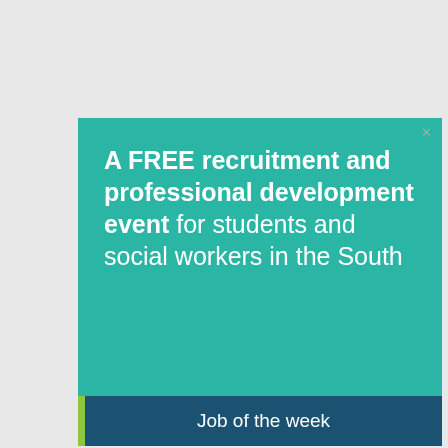[Figure (infographic): Teal/turquoise advertisement box with white text reading 'A FREE recruitment and professional development event for students and social workers in the South'. A small close (X) button appears in the top-right corner.]
Job of the week